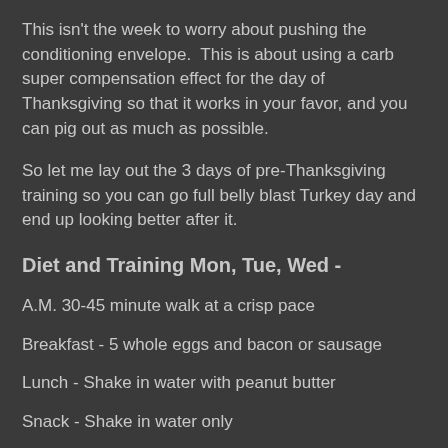This isn't the week to worry about pushing the conditioning envelope.  This is about using a carb super compensation effect for the day of Thanksgiving so that it works in your favor, and you can pig out as much as possible.
So let me lay out the 3 days of pre-Thanksgiving training so you can go full belly blast Turkey day and end up looking better after it.
Diet and Training Mon, Tue, Wed -
A.M. 30-45 minute walk at a crisp pace
Breakfast - 5 whole eggs and bacon or sausage
Lunch - Shake in water with peanut butter
Snack - Shake in water only
Training - Train as usual